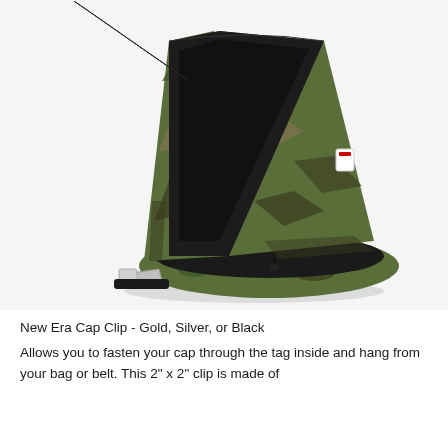[Figure (photo): A camouflage patterned cap carrier bag with black interior, open zipper showing inside compartment, with a black shoulder strap and silver clasp, photographed on white background.]
New Era Cap Clip - Gold, Silver, or Black
Allows you to fasten your cap through the tag inside and hang from your bag or belt. This 2" x 2" clip is made of